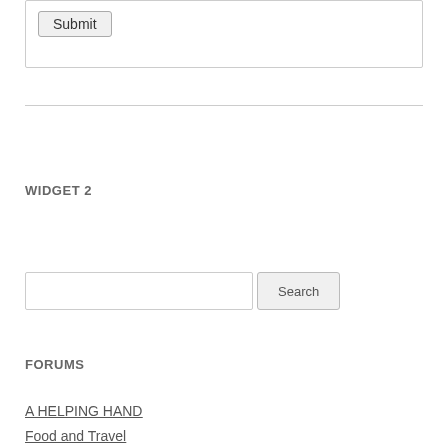Submit
WIDGET 2
Search
FORUMS
A HELPING HAND
Food and Travel